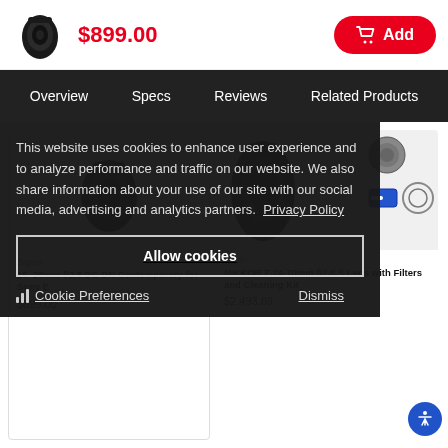[Figure (photo): Camera lens product thumbnail image]
$899.00
Add
Overview   Specs   Reviews   Related Products
This website uses cookies to enhance user experience and to analyze performance and traffic on our website. We also share information about your use of our site with our social media, advertising and analytics partners.  Privacy Policy
Allow cookies
Dismiss
Cookie Preferences
Sigma
16-28mm f/2.8 DG DN Contemporary for Sony E
$899.00
Nikon
NIKKOR Z 24-70mm f/2.8 S Lens with Filters and Cleaning Kit
$2,493.89